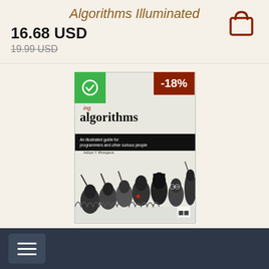Algorithms Illuminated
16.68 USD
19.99 USD
[Figure (illustration): Shopping cart / bag icon in dark red/brown color]
[Figure (photo): Book cover of Grokking Algorithms with green checkmark badge and -18% red discount badge. Cover shows illustrated cartoon characters and title 'algorithms - An illustrated guide for programmers and other curious people' by Aditya Y. Bhargava.]
Grokking Algorithms
37.01 USD
44.99 USD
[Figure (illustration): Shopping cart / bag icon in dark red/brown color]
[Figure (illustration): Hamburger menu icon (three horizontal lines) on dark navy background footer bar]